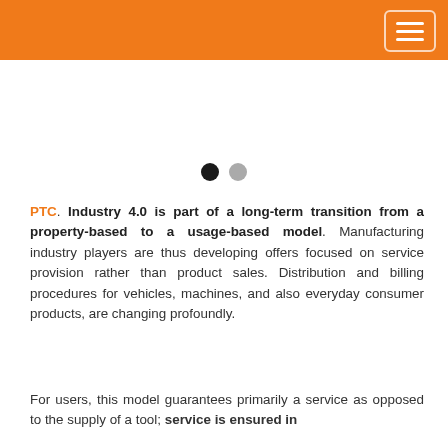[Figure (other): Carousel slide area with two navigation dots — one black (active) and one gray (inactive)]
PTC. Industry 4.0 is part of a long-term transition from a property-based to a usage-based model. Manufacturing industry players are thus developing offers focused on service provision rather than product sales. Distribution and billing procedures for vehicles, machines, and also everyday consumer products, are changing profoundly.
For users, this model guarantees primarily a service as opposed to the supply of a tool; service is ensured in